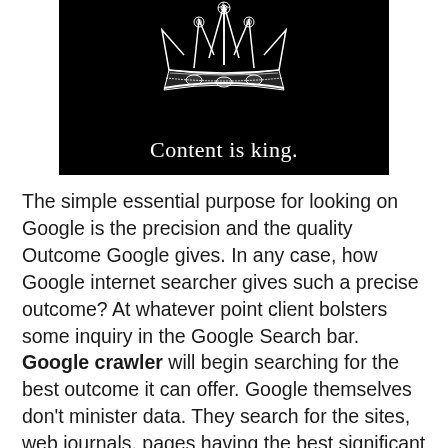[Figure (illustration): Black background image with a white hand-drawn style crown illustration at the top and the text 'Content is king.' in white serif font below it]
The simple essential purpose for looking on Google is the precision and the quality Outcome Google gives. In any case, how Google internet searcher gives such a precise outcome? At whatever point client bolsters some inquiry in the Google Search bar. Google crawler will begin searching for the best outcome it can offer. Google themselves don't minister data. They search for the sites, web journals, pages having the best significant answer, and begin posting those sites in